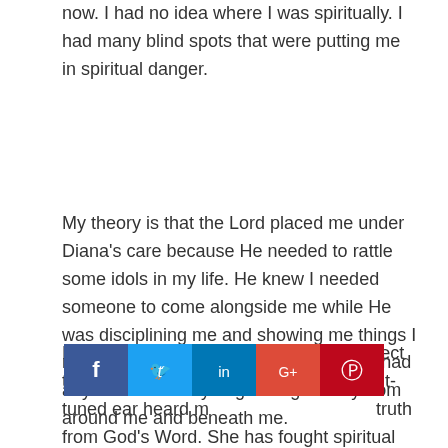now. I had no idea where I was spiritually. I had many blind spots that were putting me in spiritual danger.
My theory is that the Lord placed me under Diana's care because He needed to rattle some idols in my life. He knew I needed someone to come alongside me while He was disciplining me and showing me things I needed to release. I hardly even knew I had any idols until they began to give way from around me and beneath me.
Diana came alongside me in Divine perfect timing. Her prayers held me up. Her spirit-tuned ear heard m[...] truth from God's Word. She has fought spiritual battles for me
[Figure (other): Social share bar with Facebook, Twitter, LinkedIn, Google+, and Pinterest buttons overlaid on the text.]